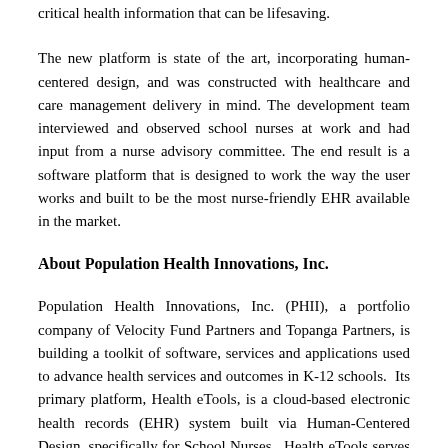critical health information that can be lifesaving.
The new platform is state of the art, incorporating human-centered design, and was constructed with healthcare and care management delivery in mind. The development team interviewed and observed school nurses at work and had input from a nurse advisory committee. The end result is a software platform that is designed to work the way the user works and built to be the most nurse-friendly EHR available in the market.
About Population Health Innovations, Inc.
Population Health Innovations, Inc. (PHII), a portfolio company of Velocity Fund Partners and Topanga Partners, is building a toolkit of software, services and applications used to advance health services and outcomes in K-12 schools.  Its primary platform, Health eTools, is a cloud-based electronic health records (EHR) system built via Human-Centered Design, specifically for School Nurses.  Health eTools serves over 500 schools, primarily in Pennsylvania.  Nurse's Aide, acquired by PHII in August of 2018, is an EHR platform used